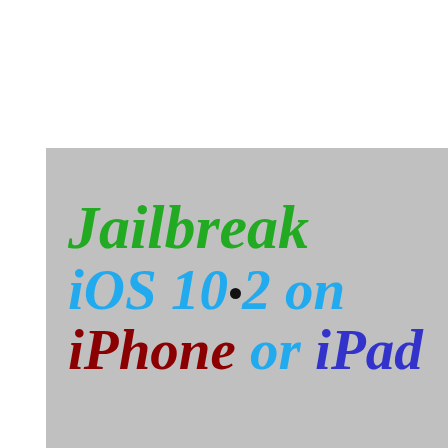[Figure (illustration): Gray background box with multi-colored large bold italic text reading 'Jailbreak iOS 10.2 on iPhone or iPad'. 'Jailbreak' is in green, 'iOS 10.2 on' is in sky blue with a black dot replacing the decimal point, 'iPhone' is in dark red, 'or' is in sky blue, 'iPad' is in dark blue/indigo.]